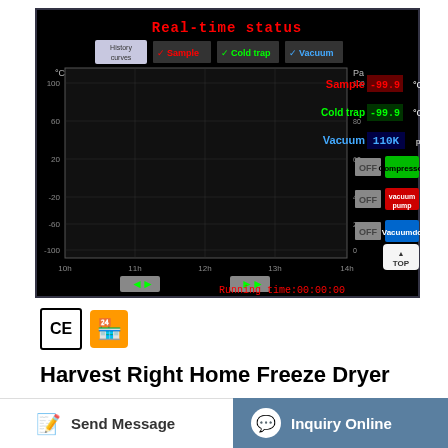[Figure (screenshot): Real-time status screen for Harvest Right Home Freeze Dryer showing temperature and vacuum monitoring interface. Displays Sample -99.9°C, Cold trap -99.9°C, Vacuum 110K Pa readings. Chart area shows time axis from 10h to 14h with temperature (°C) and pressure (Pa) axes. Control buttons: Compressor (green/OFF), Vacuum pump (red/OFF), Vacuumdo (blue/OFF). Running time: 00:00:00.]
[Figure (logo): CE certification mark and a golden shield/store logo badge]
Harvest Right Home Freeze Dryer
Send Message
Inquiry Online